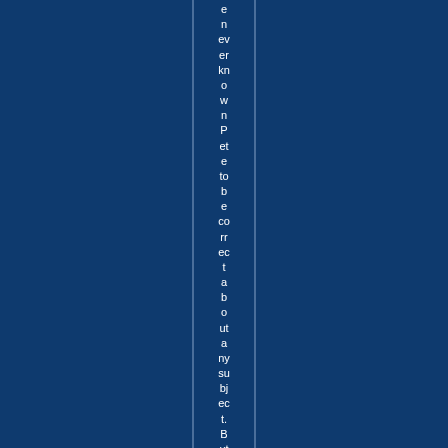e n ev er kn o w n P et e to b e co rr ec t a b o ut a ny su bj ec t. B ut